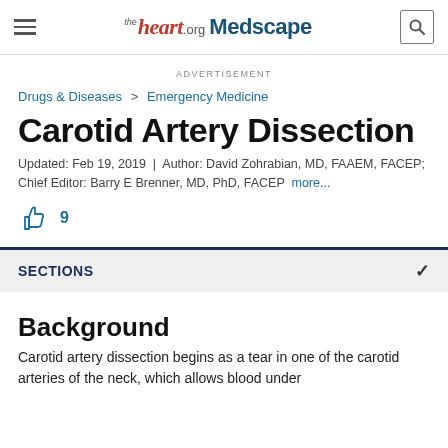the heart.org Medscape
ADVERTISEMENT
Drugs & Diseases > Emergency Medicine
Carotid Artery Dissection
Updated: Feb 19, 2019 | Author: David Zohrabian, MD, FAAEM, FACEP; Chief Editor: Barry E Brenner, MD, PhD, FACEP more...
9
SECTIONS
Background
Carotid artery dissection begins as a tear in one of the carotid arteries of the neck, which allows blood under